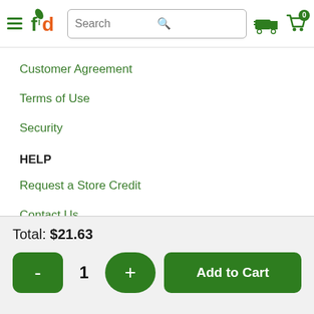[Figure (screenshot): Website header with hamburger menu, fd logo, search bar, delivery truck icon, and shopping cart icon showing 0]
Customer Agreement
Terms of Use
Security
HELP
Request a Store Credit
Contact Us
Total: $21.63
[Figure (screenshot): Cart controls: minus button, quantity 1, plus button, Add to Cart button]